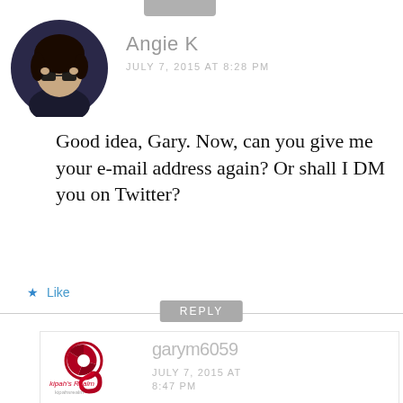[Figure (photo): Circular avatar photo of Angie K, a person in dark clothing adjusting sunglasses, against a dark purple background]
Angie K
JULY 7, 2015 AT 8:28 PM
Good idea, Gary. Now, can you give me your e-mail address again? Or shall I DM you on Twitter?
★ Like
REPLY
[Figure (logo): Kipah's Realm logo: a red/dark red stylized camera aperture and snake-like S shape, with text 'kipah's Realm' and 'kipahsrealm']
garym6059
JULY 7, 2015 AT 8:47 PM